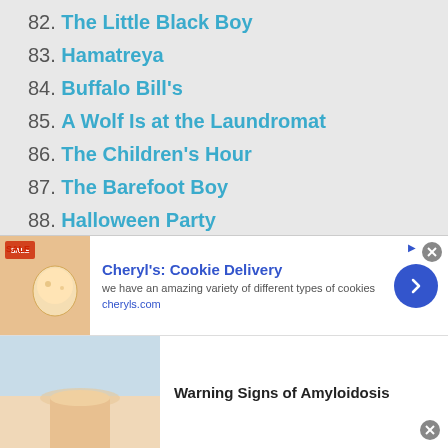82. The Little Black Boy
83. Hamatreya
84. Buffalo Bill's
85. A Wolf Is at the Laundromat
86. The Children's Hour
87. The Barefoot Boy
88. Halloween Party
89. A Supermarket in California
90. Crossing Brooklyn Ferry
91. Song: To Celia
92. Love Among The Ruins
93. To — — –. Ulalume: A Ballad
94. Who Has Seen the Wind?
95. The Sick Rose
[Figure (screenshot): Advertisement banner for Cheryl's Cookie Delivery with image, title, description, and arrow button]
[Figure (screenshot): Second advertisement banner showing Warning Signs of Amyloidosis]